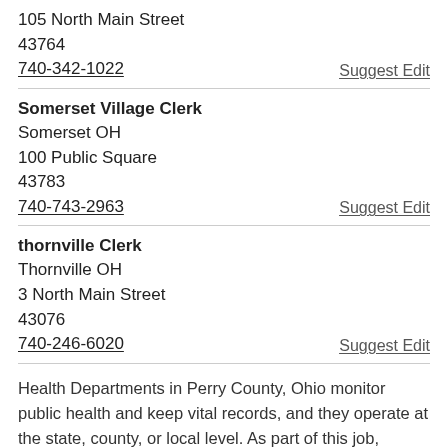105 North Main Street
43764
740-342-1022
Suggest Edit
Somerset Village Clerk
Somerset OH
100 Public Square
43783
740-743-2963
Suggest Edit
thornville Clerk
Thornville OH
3 North Main Street
43076
740-246-6020
Suggest Edit
Health Departments in Perry County, Ohio monitor public health and keep vital records, and they operate at the state, county, or local level. As part of this job, Health Departments maintain Perry County death certificates, which include information about the deceased